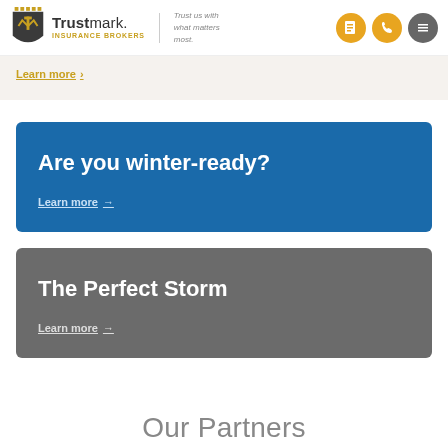Trustmark. INSURANCE BROKERS | Trust us with what matters most.
Learn more →
Are you winter-ready?
Learn more →
The Perfect Storm
Learn more →
Our Partners